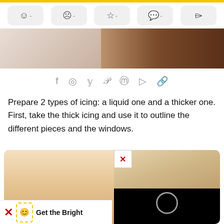[Figure (screenshot): Yellow top bar and action bar with 5 icon buttons (smiley face, sad face, star, comment, share) each with a dash]
[Figure (photo): Close-up photo of hands holding something, brownish tones]
[Figure (screenshot): Social share bar with icons: Facebook, WhatsApp, Twitter, Pinterest, Messenger, Telegram, link]
Prepare 2 types of icing: a liquid one and a thicker one. First, take the thick icing and use it to outline the different pieces and the windows.
[Figure (photo): Two side-by-side photos of a girl with blonde hair. Left photo shows full face, right photo top half shows face and bottom half is black with loading spinner. A red X icon overlay appears in right photo top-left corner.]
[Figure (screenshot): Bottom banner with red X, dashed phone icon, and 'Get the Bright' text]